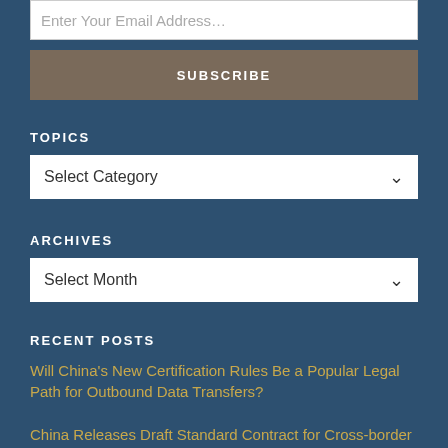Enter Your Email Address…
SUBSCRIBE
TOPICS
Select Category
ARCHIVES
Select Month
RECENT POSTS
Will China's New Certification Rules Be a Popular Legal Path for Outbound Data Transfers?
China Releases Draft Standard Contract for Cross-border